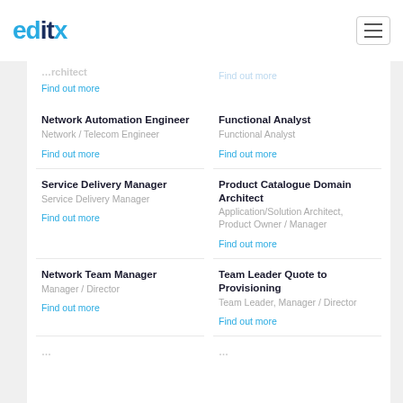[Figure (logo): editx logo with 'ed' and 'x' in cyan/light blue, 'it' in dark navy blue]
Network Automation Engineer
Network / Telecom Engineer
Find out more
Functional Analyst
Functional Analyst
Find out more
Service Delivery Manager
Service Delivery Manager
Find out more
Product Catalogue Domain Architect
Application/Solution Architect, Product Owner / Manager
Find out more
Network Team Manager
Manager / Director
Find out more
Team Leader Quote to Provisioning
Team Leader, Manager / Director
Find out more